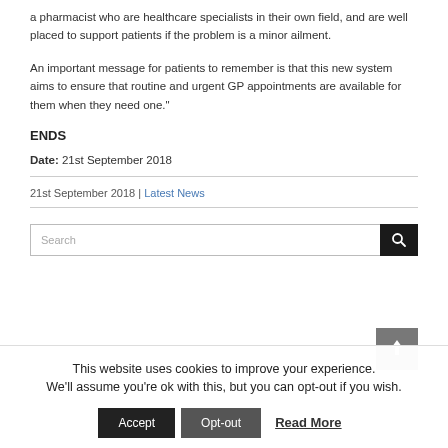a pharmacist who are healthcare specialists in their own field, and are well placed to support patients if the problem is a minor ailment.
An important message for patients to remember is that this new system aims to ensure that routine and urgent GP appointments are available for them when they need one."
ENDS
Date: 21st September 2018
21st September 2018 | Latest News
This website uses cookies to improve your experience. We'll assume you're ok with this, but you can opt-out if you wish.